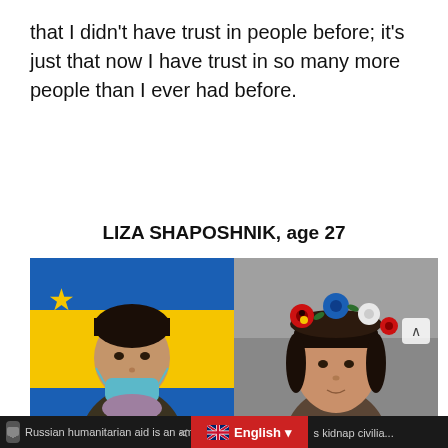that I didn't have trust in people before; it's just that now I have trust in so many more people than I ever had before.
LIZA SHAPOSHNIK, age 27
[Figure (photo): Two side-by-side photos of Liza Shaposhnik. Left photo shows a young woman with a blue face mask pulled down, standing in front of a Ukrainian/EU flag. Right photo shows the same or similar young woman wearing a colorful traditional Ukrainian flower crown (wreath) with red, blue, and white flowers.]
Russian humanitarian aid is an am...  <  English ▾  s kidnap civilia...